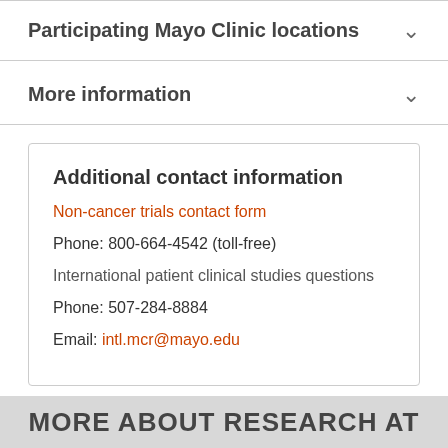Participating Mayo Clinic locations
More information
Additional contact information
Non-cancer trials contact form
Phone: 800-664-4542 (toll-free)
International patient clinical studies questions
Phone: 507-284-8884
Email: intl.mcr@mayo.edu
MORE ABOUT RESEARCH AT